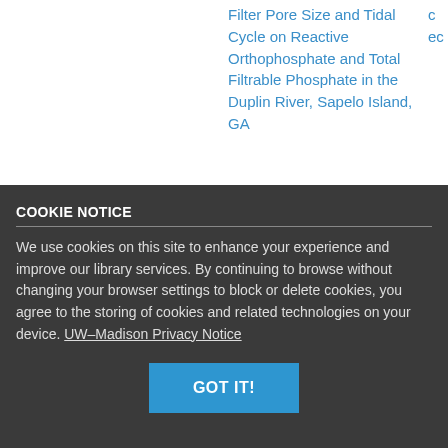Filter Pore Size and Tidal Cycle on Reactive Orthophosphate and Total Filtrable Phosphate in the Duplin River, Sapelo Island, GA
COOKIE NOTICE
We use cookies on this site to enhance your experience and improve our library services. By continuing to browse without changing your browser settings to block or delete cookies, you agree to the storing of cookies and related technologies on your device. UW–Madison Privacy Notice
GOT IT!